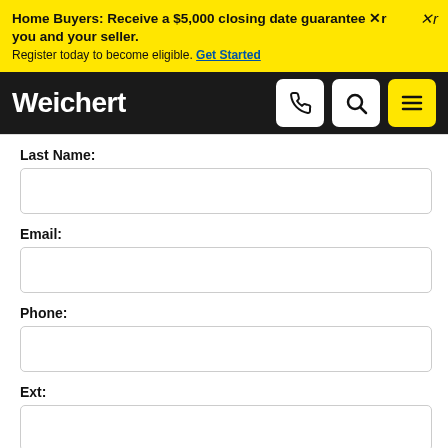Home Buyers: Receive a $5,000 closing date guarantee Xr you and your seller. Register today to become eligible. Get Started
[Figure (logo): Weichert logo in white text on black background with phone, search, and menu icons]
Last Name:
Email:
Phone:
Ext:
Comment: